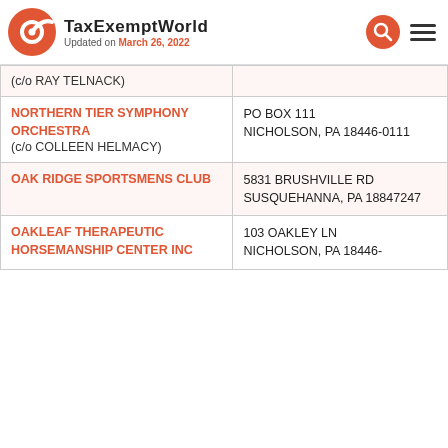TaxExemptWorld — Updated on March 26, 2022
| Organization | Address |
| --- | --- |
| (c/o RAY TELNACK) |  |
| NORTHERN TIER SYMPHONY ORCHESTRA
(c/o COLLEEN HELMACY) | PO BOX 111
NICHOLSON, PA 18446-0111 |
| OAK RIDGE SPORTSMENS CLUB | 5831 BRUSHVILLE RD
SUSQUEHANNA, PA 18847247 |
| OAKLEAF THERAPEUTIC HORSEMANSHIP CENTER INC | 103 OAKLEY LN
NICHOLSON, PA 18446- |